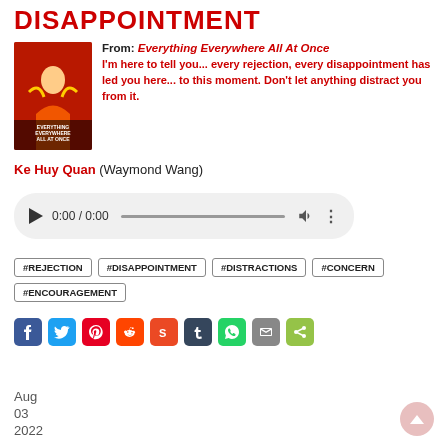DISAPPOINTMENT
From: Everything Everywhere All At Once
I'm here to tell you... every rejection, every disappointment has led you here... to this moment. Don't let anything distract you from it.
Ke Huy Quan (Waymond Wang)
[Figure (screenshot): Audio player widget showing 0:00 / 0:00 with play button, progress bar, volume, and more options]
#REJECTION
#DISAPPOINTMENT
#DISTRACTIONS
#CONCERN
#ENCOURAGEMENT
[Figure (infographic): Social sharing icons row: Facebook, Twitter, Pinterest, Reddit, StumbleUpon, Tumblr, WhatsApp, Email, ShareThis]
Aug
03
2022